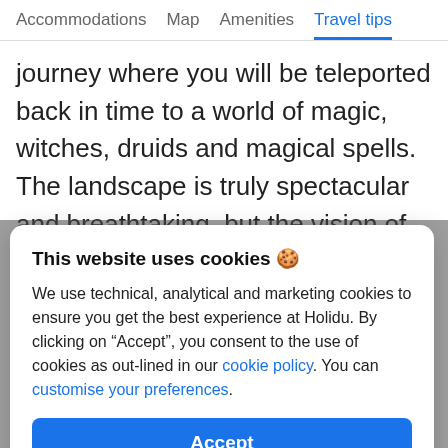Accommodations  Map  Amenities  Travel tips
journey where you will be teleported back in time to a world of magic, witches, druids and magical spells. The landscape is truly spectacular and breathtaking, but the vision of the dolmens “forest” is impressive. It is a visit to calmly look, admire
This website uses cookies 🍪
We use technical, analytical and marketing cookies to ensure you get the best experience at Holidu. By clicking on “Accept”, you consent to the use of cookies as out-lined in our cookie policy. You can customise your preferences.